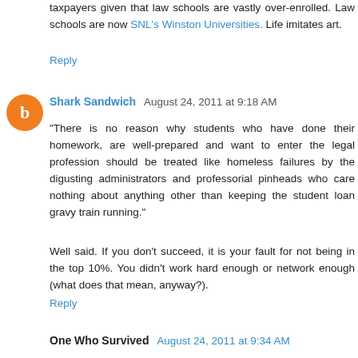taxpayers given that law schools are vastly over-enrolled. Law schools are now SNL's Winston Universities. Life imitates art.
Reply
Shark Sandwich  August 24, 2011 at 9:18 AM
"There is no reason why students who have done their homework, are well-prepared and want to enter the legal profession should be treated like homeless failures by the digusting administrators and professorial pinheads who care nothing about anything other than keeping the student loan gravy train running."
Well said. If you don't succeed, it is your fault for not being in the top 10%. You didn't work hard enough or network enough (what does that mean, anyway?).
Reply
One Who Survived  August 24, 2011 at 9:34 AM